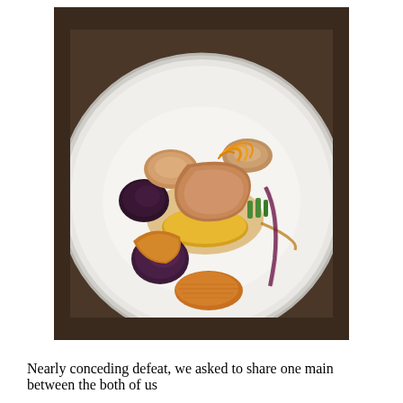[Figure (photo): A fine-dining plated dish on a large white ceramic plate. The dish features sliced duck or poultry meat arranged on top of a golden base, garnished with julienned orange zest. Surrounding the meat are roasted purple figs or plums, glazed root vegetables, green asparagus tips, and a drizzle of amber jus. A streak of deep purple beet sauce decorates the plate. The plate sits on a dark wooden table.]
Nearly conceding defeat, we asked to share one main between the both of us...